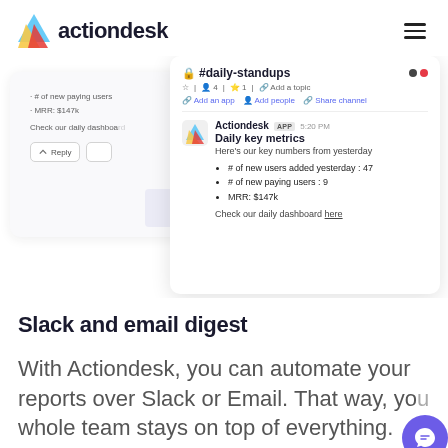actiondesk
[Figure (screenshot): Screenshot of a Slack channel #daily-standups showing an Actiondesk APP message at 5:20 PM with daily key metrics: # of new users added yesterday: 47, # of new paying users: 9, MRR: $147k, and a link to check daily dashboard here. A partially visible background card shows similar metrics.]
Slack and email digest
With Actiondesk, you can automate your reports over Slack or Email. That way, your whole team stays on top of everything.